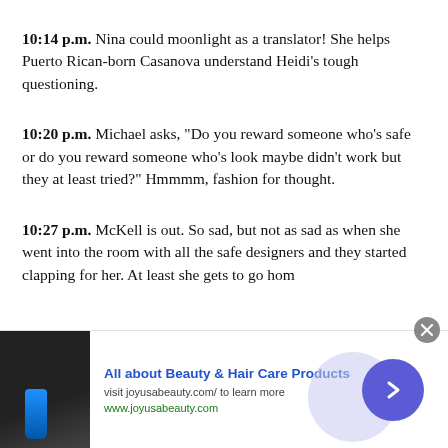10:14 p.m. Nina could moonlight as a translator! She helps Puerto Rican-born Casanova understand Heidi's tough questioning.
10:20 p.m. Michael asks, "Do you reward someone who's safe or do you reward someone who's look maybe didn't work but they at least tried?" Hmmmm, fashion for thought.
10:27 p.m. McKell is out. So sad, but not as sad as when she went into the room with all the safe designers and they started clapping for her. At least she gets to go hom
[Figure (infographic): Advertisement banner for 'All about Beauty & Hair Care Products' at joyusabeauty.com with a photo of a person holding a blue bottle, a circular arrow button, and a close X button.]